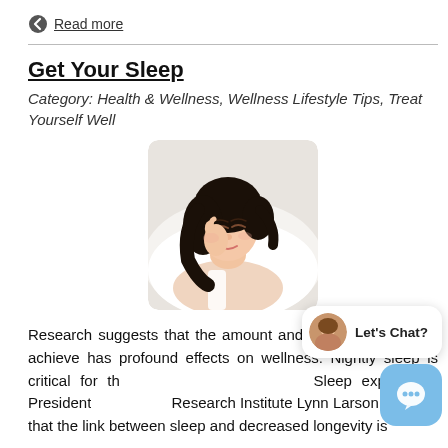Read more
Get Your Sleep
Category: Health & Wellness, Wellness Lifestyle Tips, Treat Yourself Well
[Figure (photo): A woman sleeping on a white pillow, eyes closed, dark hair, white sleeveless top]
Research suggests that the amount and quality of sleep we achieve has profound effects on wellness. Nightly sleep is critical for th... Sleep expert and President... Research Institute Lynn Larson explains that the link between sleep and decreased longevity is
Read more